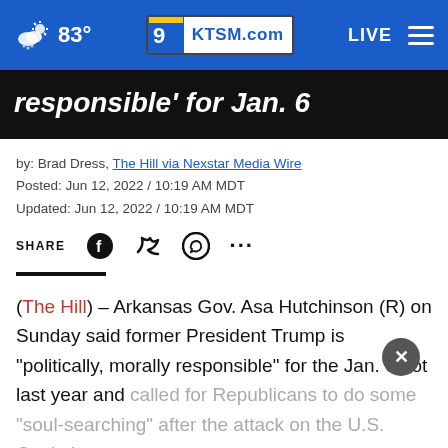83° | KTSM.com | LIVE
responsible' for Jan. 6
by: Brad Dress, The Hill via Nexstar Media Wire
Posted: Jun 12, 2022 / 10:19 AM MDT
Updated: Jun 12, 2022 / 10:19 AM MDT
SHARE
(The Hill) – Arkansas Gov. Asa Hutchinson (R) on Sunday said former President Trump is "politically, morally responsible" for the Jan. 6 riot last year and called for Republicans to do some "soul-searching" after the attack on the U.S. Capitol.